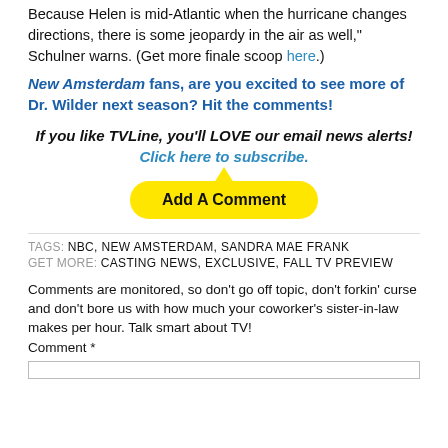Because Helen is mid-Atlantic when the hurricane changes directions, there is some jeopardy in the air as well," Schulner warns. (Get more finale scoop here.)
New Amsterdam fans, are you excited to see more of Dr. Wilder next season? Hit the comments!
If you like TVLine, you'll LOVE our email news alerts! Click here to subscribe.
[Figure (other): Yellow speech-bubble-style button labeled 'Add A Comment']
TAGS: NBC, NEW AMSTERDAM, SANDRA MAE FRANK
GET MORE: CASTING NEWS, EXCLUSIVE, FALL TV PREVIEW
Comments are monitored, so don't go off topic, don't forkin' curse and don't bore us with how much your coworker's sister-in-law makes per hour. Talk smart about TV!
Comment *